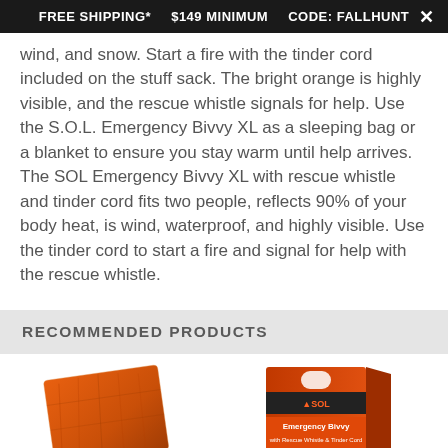FREE SHIPPING*   $149 MINIMUM   CODE: FALLHUNT   ×
wind, and snow. Start a fire with the tinder cord included on the stuff sack. The bright orange is highly visible, and the rescue whistle signals for help. Use the S.O.L. Emergency Bivvy XL as a sleeping bag or a blanket to ensure you stay warm until help arrives. The SOL Emergency Bivvy XL with rescue whistle and tinder cord fits two people, reflects 90% of your body heat, is wind, waterproof, and highly visible. Use the tinder cord to start a fire and signal for help with the rescue whistle.
RECOMMENDED PRODUCTS
[Figure (photo): Orange emergency bivvy folded, shown from an angle]
[Figure (photo): SOL Emergency Bivvy product in orange retail box packaging]